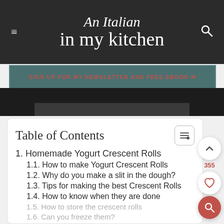An Italian in my kitchen
SIGN UP FOR MY NEWSLETTER AND FREE EBOOK
Table of Contents
1. Homemade Yogurt Crescent Rolls
1.1. How to make Yogurt Crescent Rolls
1.2. Why do you make a slit in the dough?
1.3. Tips for making the best Crescent Rolls
1.4. How to know when they are done
1.5. How to store the crescent rolls
1.6. Can you freeze them?